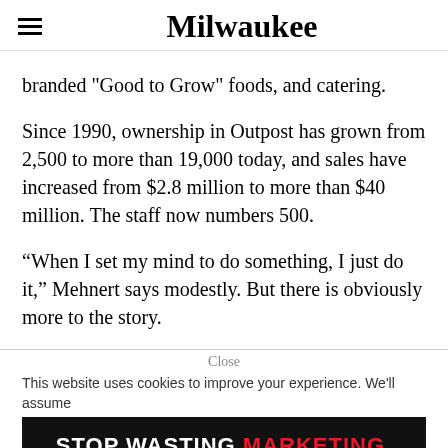Milwaukee
branded "Good to Grow" foods, and catering.
Since 1990, ownership in Outpost has grown from 2,500 to more than 19,000 today, and sales have increased from $2.8 million to more than $40 million. The staff now numbers 500.
“When I set my mind to do something, I just do it,” Mehnert says modestly. But there is obviously more to the story.
Close
This website uses cookies to improve your experience. We'll assume
[Figure (other): Advertisement banner with dark background reading STOP WASTING MARKETING. in bold white and red text]